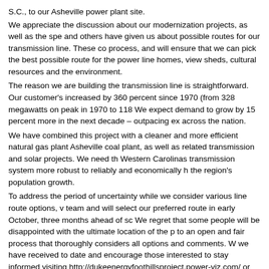S.C., to our Asheville power plant site.
We appreciate the discussion about our modernization projects, as well as the spe and others have given us about possible routes for our transmission line. These co process, and will ensure that we can pick the best possible route for the power line homes, view sheds, cultural resources and the environment.
The reason we are building the transmission line is straightforward. Our customer's increased by 360 percent since 1970 (from 328 megawatts on peak in 1970 to 118 We expect demand to grow by 15 percent more in the next decade – outpacing ex across the nation.
We have combined this project with a cleaner and more efficient natural gas plant Asheville coal plant, as well as related transmission and solar projects. We need th Western Carolinas transmission system more robust to reliably and economically h the region's population growth.
To address the period of uncertainty while we consider various line route options, v team and will select our preferred route in early October, three months ahead of sc We regret that some people will be disappointed with the ultimate location of the p to an open and fair process that thoroughly considers all options and comments. W we have received to date and encourage those interested to stay informed visiting http://dukeenergyfoothillsproject.power-viz.com/ or WCTransmissionEnhancement
Craig DeBrew
Craig DeBrew leads Duke Energy's local government and community relations effo